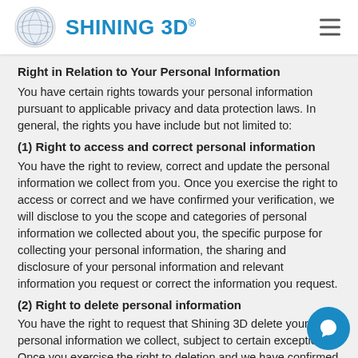SHINING 3D
Right in Relation to Your Personal Information
You have certain rights towards your personal information pursuant to applicable privacy and data protection laws. In general, the rights you have include but not limited to:
(1) Right to access and correct personal information
You have the right to review, correct and update the personal information we collect from you. Once you exercise the right to access or correct and we have confirmed your verification, we will disclose to you the scope and categories of personal information we collected about you, the specific purpose for collecting your personal information, the sharing and disclosure of your personal information and relevant information you request or correct the information you request.
(2) Right to delete personal information
You have the right to request that Shining 3D delete your personal information we collect, subject to certain exceptions. Once you exercise the right to deletion and we have confirmed your